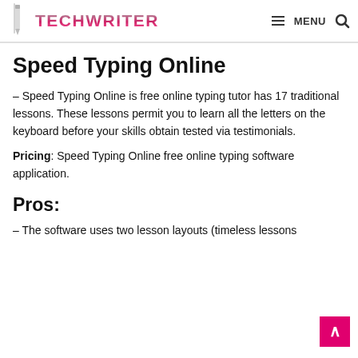TECHWRITER — MENU [search]
Speed Typing Online
– Speed Typing Online is free online typing tutor has 17 traditional lessons. These lessons permit you to learn all the letters on the keyboard before your skills obtain tested via testimonials.
Pricing: Speed Typing Online free online typing software application.
Pros:
– The software uses two lesson layouts (timeless lessons